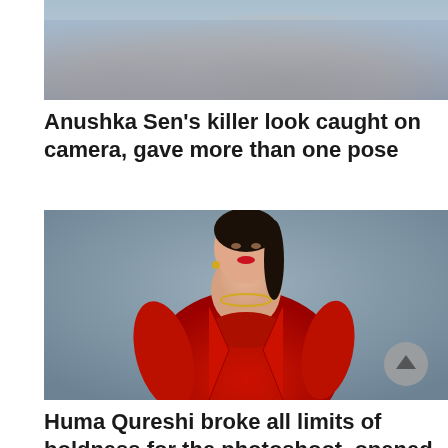[Figure (photo): Partial photo of a person wearing denim outfit with accessories, cropped at top]
Anushka Sen’s killer look caught on camera, gave more than one pose
[Figure (photo): Huma Qureshi in a bold red outfit consisting of a blazer and matching skirt/bralette set, posing against a grey background, wearing gold jewellery and red lipstick]
Huma Qureshi broke all limits of boldness for the photoshoot, opened the buttons of